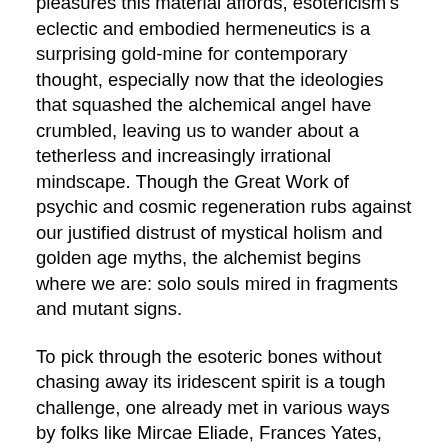pleasures this material affords, esotericism's eclectic and embodied hermeneutics is a surprising gold-mine for contemporary thought, especially now that the ideologies that squashed the alchemical angel have crumbled, leaving us to wander about a tetherless and increasingly irrational mindscape. Though the Great Work of psychic and cosmic regeneration rubs against our justified distrust of mystical holism and golden age myths, the alchemist begins where we are: solo souls mired in fragments and mutant signs.
To pick through the esoteric bones without chasing away its iridescent spirit is a tough challenge, one already met in various ways by folks like Mircae Eliade, Frances Yates, Henry Corbin, and more recently James Hillman, Joscelyn Godwin, Adam McLean and Morris Berman. Of course, the most famous 20th century intellectual to go whole hog on